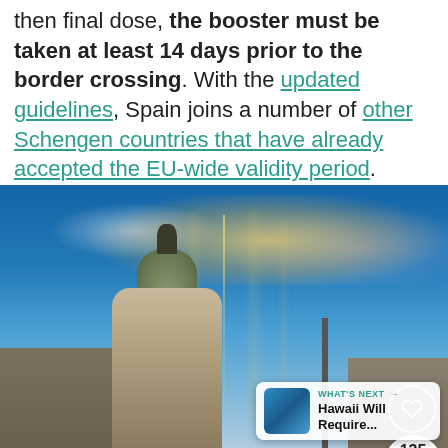then final dose, the booster must be taken at least 14 days prior to the border crossing. With the updated guidelines, Spain joins a number of other Schengen countries that have already accepted the EU-wide validity period.
[Figure (photo): Photo of Madrid skyline with the Metropolis building, dramatic sky with sunrays breaking through golden clouds, overlaid with UI elements: a heart/favorite button, a share counter showing 135, and a 'What's Next' card previewing 'Hawaii Will Require...' article]